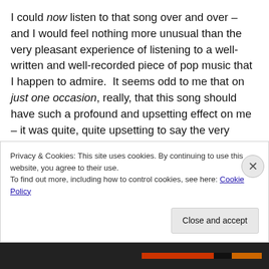I could now listen to that song over and over – and I would feel nothing more unusual than the very pleasant experience of listening to a well-written and well-recorded piece of pop music that I happen to admire.  It seems odd to me that on just one occasion, really, that this song should have such a profound and upsetting effect on me – it was quite, quite upsetting to say the very least.  I'm actually, very glad that it doesn't happen every time – or I would spend far too much time sobbing over a song instead of just enjoying listening to music as I always, always have.
Privacy & Cookies: This site uses cookies. By continuing to use this website, you agree to their use.
To find out more, including how to control cookies, see here: Cookie Policy